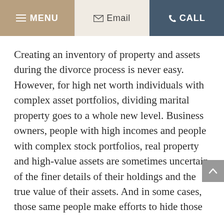≡ MENU   ✉ Email   ☎ CALL
Creating an inventory of property and assets during the divorce process is never easy. However, for high net worth individuals with complex asset portfolios, dividing marital property goes to a whole new level. Business owners, people with high incomes and people with complex stock portfolios, real property and high-value assets are sometimes uncertain of the finer details of their holdings and the true value of their assets. And in some cases, those same people make efforts to hide those